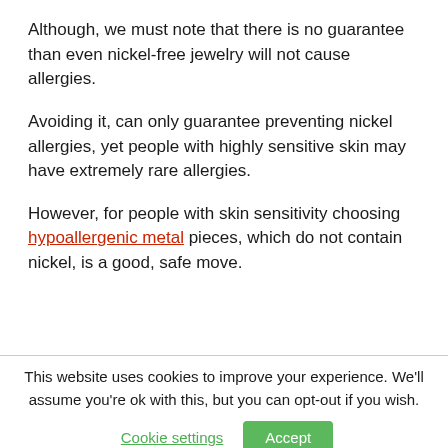Although, we must note that there is no guarantee than even nickel-free jewelry will not cause allergies.
Avoiding it, can only guarantee preventing nickel allergies, yet people with highly sensitive skin may have extremely rare allergies.
However, for people with skin sensitivity choosing hypoallergenic metal pieces, which do not contain nickel, is a good, safe move.
This website uses cookies to improve your experience. We'll assume you're ok with this, but you can opt-out if you wish.
Cookie settings | Accept